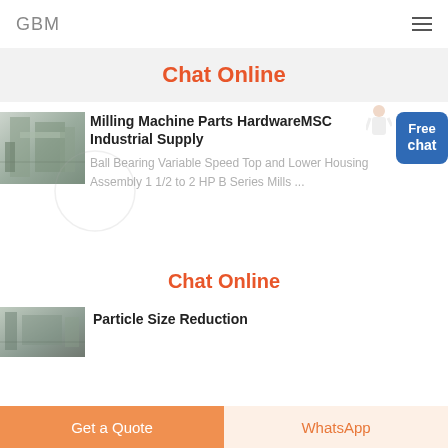GBM
Chat Online
[Figure (photo): Industrial milling machine equipment in a factory setting]
Milling Machine Parts HardwareMSC Industrial Supply
Ball Bearing Variable Speed Top and Lower Housing Assembly 1 1/2 to 2 HP B Series Mills ...
Chat Online
[Figure (photo): Particle size reduction equipment in industrial setting]
Particle Size Reduction
Get a Quote
WhatsApp